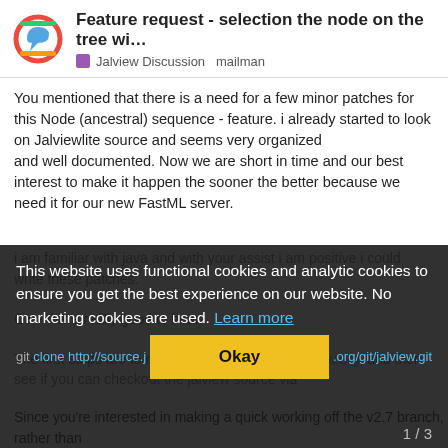Feature request - selection the node on the tree wi... | Jalview Discussion mailman
You mentioned that there is a need for a few minor patches for this Node (ancestral) sequence - feature. i already started to look on Jalviewlite source and seems very organized
and well documented. Now we are short in time and our best interest to make it happen the sooner the better because we need it for our new FastML server.
i am familiar with java and with your assist i am positive i could write these patches.
This website uses functional cookies and analytic cookies to ensure you get the best experience on our website. No marketing cookies are used. Learn more
OK - that's really good to hear.
The first steps are to register on http://issues.jalview.org, and then see if you can checkout the jalview source via
git clone http://source.jalview.org/git/jalview.git
Okay
Since you're interested in making a quick working off the v2.7 branch, rather than
1 / 3